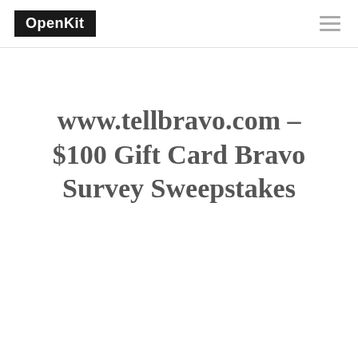OpenKit
www.tellbravo.com – $100 Gift Card Bravo Survey Sweepstakes